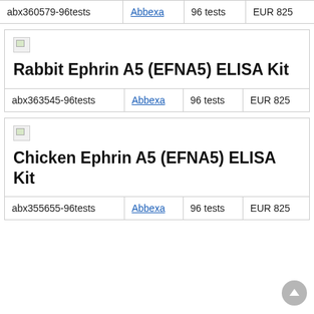| Catalog | Supplier | Size | Price |
| --- | --- | --- | --- |
| abx360579-96tests | Abbexa | 96 tests | EUR 825 |
[Figure (other): Broken image placeholder icon (small thumbnail)]
Rabbit Ephrin A5 (EFNA5) ELISA Kit
| Catalog | Supplier | Size | Price |
| --- | --- | --- | --- |
| abx363545-96tests | Abbexa | 96 tests | EUR 825 |
[Figure (other): Broken image placeholder icon (small thumbnail)]
Chicken Ephrin A5 (EFNA5) ELISA Kit
| Catalog | Supplier | Size | Price |
| --- | --- | --- | --- |
| abx355655-96tests | Abbexa | 96 tests | EUR 825 |